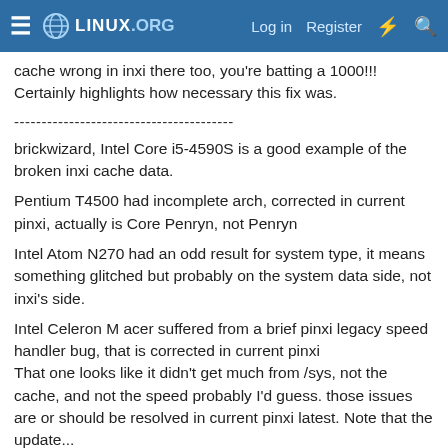Linux.org — Log in  Register
cache wrong in inxi there too, you're batting a 1000!!! Certainly highlights how necessary this fix was.
----------------------------------------
brickwizard, Intel Core i5-4590S is a good example of the broken inxi cache data.
Pentium T4500 had incomplete arch, corrected in current pinxi, actually is Core Penryn, not Penryn
Intel Atom N270 had an odd result for system type, it means something glitched but probably on the system data side, not inxi's side.
Intel Celeron M acer suffered from a brief pinxi legacy speed handler bug, that is corrected in current pinxi
That one looks like it didn't get much from /sys, not the cache, and not the speed probably I'd guess. those issues are or should be resolved in current pinxi latest. Note that the update...